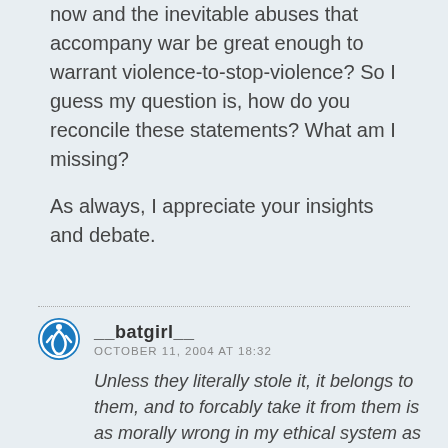now and the inevitable abuses that accompany war be great enough to warrant violence-to-stop-violence? So I guess my question is, how do you reconcile these statements? What am I missing?

As always, I appreciate your insights and debate.
__batgirl__
OCTOBER 11, 2004 AT 18:32
Unless they literally stole it, it belongs to them, and to forcably take it from them is as morally wrong in my ethical system as any other